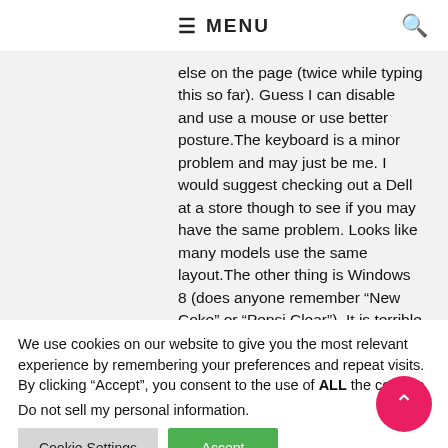≡ MENU 🔍
else on the page (twice while typing this so far). Guess I can disable and use a mouse or use better posture.The keyboard is a minor problem and may just be me. I would suggest checking out a Dell at a store though to see if you may have the same problem. Looks like many models use the same layout.The other thing is Windows 8 (does anyone remember "New Coke" or "Pepsi Clear"). It is terrible but many have complained about it so I won't go
We use cookies on our website to give you the most relevant experience by remembering your preferences and repeat visits. By clicking "Accept", you consent to the use of ALL the cookies.
Do not sell my personal information.